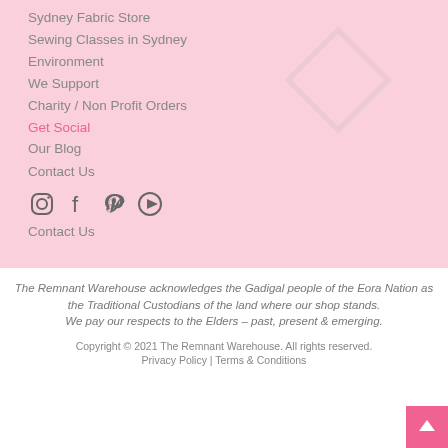Sydney Fabric Store
Sewing Classes in Sydney
Environment
We Support
Charity / Non Profit Orders
Get Social
Our Blog
Contact Us
[Figure (logo): Diamond/rhombus logo outline watermark]
Contact Us
The Remnant Warehouse acknowledges the Gadigal people of the Eora Nation as the Traditional Custodians of the land where our shop stands. We pay our respects to the Elders – past, present & emerging.
Copyright © 2021 The Remnant Warehouse. All rights reserved. Privacy Policy | Terms & Conditions